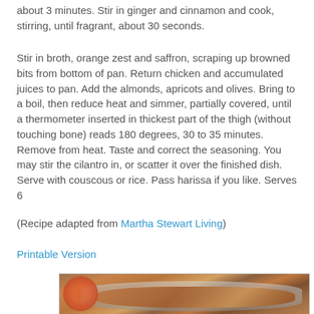about 3 minutes. Stir in ginger and cinnamon and cook, stirring, until fragrant, about 30 seconds.
Stir in broth, orange zest and saffron, scraping up browned bits from bottom of pan. Return chicken and accumulated juices to pan. Add the almonds, apricots and olives. Bring to a boil, then reduce heat and simmer, partially covered, until a thermometer inserted in thickest part of the thigh (without touching bone) reads 180 degrees, 30 to 35 minutes. Remove from heat. Taste and correct the seasoning. You may stir the cilantro in, or scatter it over the finished dish. Serve with couscous or rice. Pass harissa if you like. Serves 6
(Recipe adapted from Martha Stewart Living)
Printable Version
[Figure (photo): A photo of a cooked chicken dish in a silver pan, with orange/brown saucy chicken pieces and olives, placed on a wooden surface. A small bowl of red harissa sauce is visible in the bottom left.]